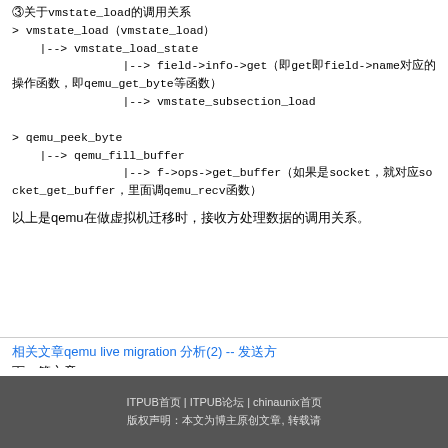③关于vmstate_load的调用关系
> vmstate_load（vmstate_load）
    |--> vmstate_load_state
                |--> field->info->get（即get即field->name对应的操作函数，即qemu_get_byte等函数）
                |--> vmstate_subsection_load

> qemu_peek_byte
    |--> qemu_fill_buffer
                |--> f->ops->get_buffer（如果是socket，就对应socket_get_buffer，里面调qemu_recv函数）
以上是qemu在做虚拟机迁移时，接收方处理数据的调用关系。
相关文章qemu live migration 分析(2) -- 发送方
下一篇文章
ITPUB首页 | ITPUB论坛 | chinaunix首页
版权声明：本文为博主原创文章, 转载请